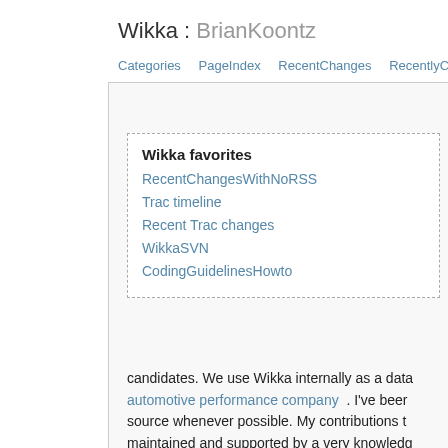Wikka : BrianKoontz
Categories   PageIndex   RecentChanges   RecentlyComment…
Wikka favorites
RecentChangesWithNoRSS
Trac timeline
Recent Trac changes
WikkaSVN
CodingGuidelinesHowto
candidates. We use Wikka internally as a data… automotive performance company . I've been… source whenever possible. My contributions t… maintained and supported by a very knowledg…
I am a member of the Wikka development tea… and server maintenance tasks, and whatever e…